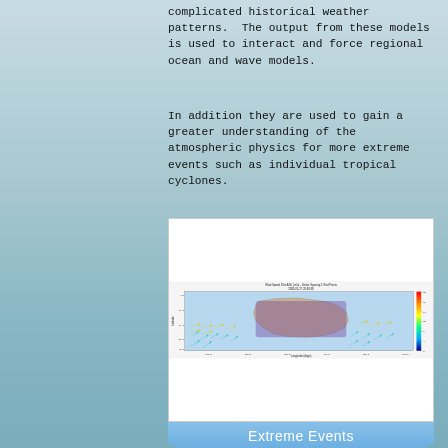complicated historical weather patterns. The output from these models is used to interact and force regional ocean and wave models.
In addition they are used to gain a greater understanding of the atmospheric physics for more extreme events such as individual tropical cyclones.
[Figure (map): Wind Speed 10m AGL (m/s) - Vector Spacing 1 Grid Points, 2000-01-27 20:30:00. Map showing wind speed and direction vectors over Australia and surrounding ocean. Color scale from dark blue (low speed) to red (high speed). Latitude and Longitude axes labeled.]
Extreme Events
Extreme events (including cyclones) offer significant challenges in the offshore industry not only in terms of design criteria, but also operability and risk management. Each location contains site